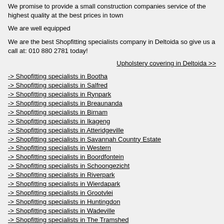We promise to provide a small construction companies service of the highest quality at the best prices in town
We are well equipped
We are the best Shopfitting specialists company in Deltoida so give us a call at: 010 880 2781 today!
Upholstery covering in Deltoida >>
-> Shopfitting specialists in Bootha
-> Shopfitting specialists in Salfred
-> Shopfitting specialists in Rynpark
-> Shopfitting specialists in Breaunanda
-> Shopfitting specialists in Birnam
-> Shopfitting specialists in Ikageng
-> Shopfitting specialists in Atteridgeville
-> Shopfitting specialists in Savannah Country Estate
-> Shopfitting specialists in Western
-> Shopfitting specialists in Boordfontein
-> Shopfitting specialists in Schoongezicht
-> Shopfitting specialists in Riverpark
-> Shopfitting specialists in Wierdapark
-> Shopfitting specialists in Grootvlei
-> Shopfitting specialists in Huntingdon
-> Shopfitting specialists in Wadeville
-> Shopfitting specialists in The Tramshed